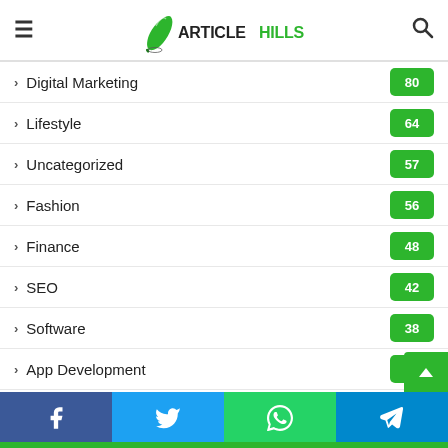ArticleHills logo and navigation header
Digital Marketing 80
Lifestyle 64
Uncategorized 57
Fashion 56
Finance 48
SEO 42
Software 38
App Development 38
Life Style 36
Automotive
Social share footer: Facebook, Twitter, WhatsApp, Telegram